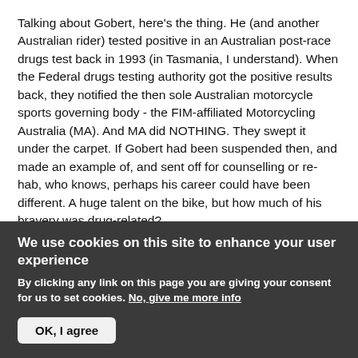Talking about Gobert, here's the thing. He (and another Australian rider) tested positive in an Australian post-race drugs test back in 1993 (in Tasmania, I understand). When the Federal drugs testing authority got the positive results back, they notified the then sole Australian motorcycle sports governing body - the FIM-affiliated Motorcycling Australia (MA). And MA did NOTHING. They swept it under the carpet. If Gobert had been suspended then, and made an example of, and sent off for counselling or re-hab, who knows, perhaps his career could have been different. A huge talent on the bike, but how much of his bravery was drug-related?
We use cookies on this site to enhance your user experience
By clicking any link on this page you are giving your consent for us to set cookies. No, give me more info
OK, I agree